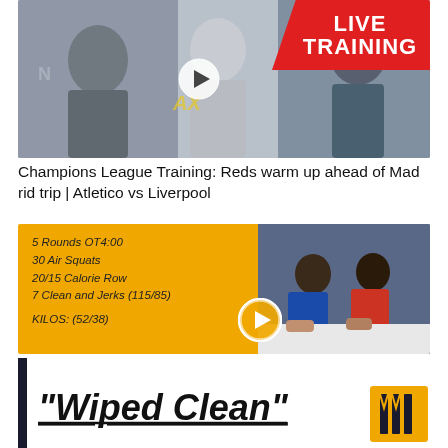[Figure (photo): Football players training with a LIVE TRAINING red badge overlay and a play button in the center]
Champions League Training: Reds warm up ahead of Mad rid trip | Atletico vs Liverpool
[Figure (photo): Yellow panel with workout details: 5 Rounds OT4:00, 30 Air Squats, 20/15 Calorie Row, 7 Clean and Jerks (115/85), KILOS: (52/38), with a play button overlay and a right-side photo of children exercising]
[Figure (photo): Bottom section with bold italic underlined text 'Wiped Clean' with a yellow logo on the right and a dark left border stripe]